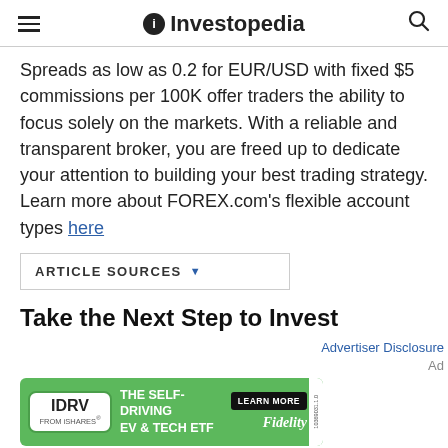Investopedia
Spreads as low as 0.2 for EUR/USD with fixed $5 commissions per 100K offer traders the ability to focus solely on the markets. With a reliable and transparent broker, you are freed up to dedicate your attention to building your best trading strategy. Learn more about FOREX.com’s flexible account types here
ARTICLE SOURCES
Take the Next Step to Invest
Advertiser Disclosure
Ad
[Figure (illustration): IDRV FROM iSHARES advertisement banner. Green background with IDRV logo, text reading THE SELF-DRIVING EV & TECH ETF, LEARN MORE button, and Fidelity logo.]